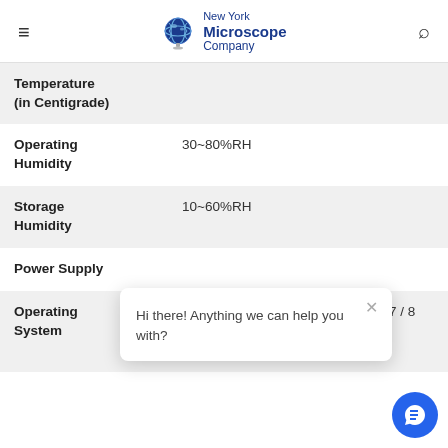New York Microscope Company
| Property | Value |
| --- | --- |
| Temperature (in Centigrade) |  |
| Operating Humidity | 30~80%RH |
| Storage Humidity | 10~60%RH |
| Power Supply |  |
| Operating System | Microsoft® Windows® XP / Vista / 7 / 8 /10 (32 & 64 bit) |